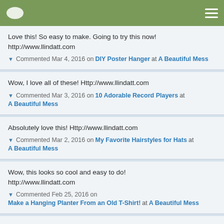Navigation bar with logo and menu icon
Love this! So easy to make. Going to try this now! http://www.llindatt.com
▼ Commented Mar 4, 2016 on DIY Poster Hanger at A Beautiful Mess
Wow, I love all of these! Http://www.llindatt.com
▼ Commented Mar 3, 2016 on 10 Adorable Record Players at A Beautiful Mess
Absolutely love this! Http://www.llindatt.com
▼ Commented Mar 2, 2016 on My Favorite Hairstyles for Hats at A Beautiful Mess
Wow, this looks so cool and easy to do! http://www.llindatt.com
▼ Commented Feb 25, 2016 on Make a Hanging Planter From an Old T-Shirt! at A Beautiful Mess
This is so cool! http://www.llindatt.com
▼ Commented Feb 23, 2016 on Copper Pipe Child's